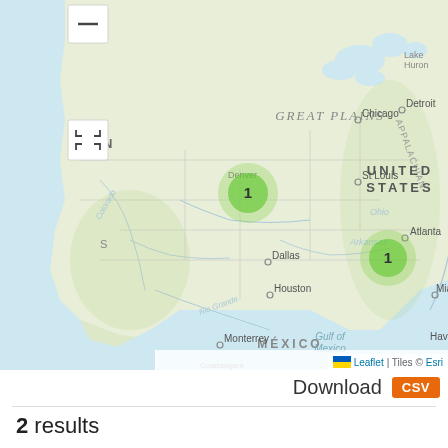[Figure (map): Interactive Leaflet map showing the United States with two green cluster markers labeled '1' — one near Denver, Colorado and one in the southeast near Atlanta, Georgia. Map shows geographic features including Great Plains, Appalachian region, Gulf of Mexico, and neighboring countries Canada and Mexico. City labels include Chicago, Detroit, St Louis, Dallas, Houston, Monterrey, Atlanta, and Miami. River labels include Mississippi, Arkansas, Ohio, Colorado, Rio Grande. Attribution shows Leaflet and Esri tiles.]
Download CSV
2 results